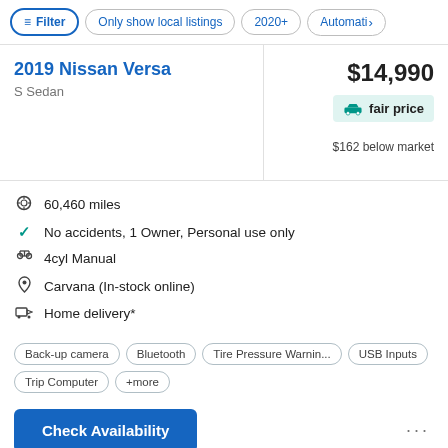Filter | Only show local listings | 2020+ | Automatic
2019 Nissan Versa
S Sedan
$14,990
fair price
$162 below market
60,460 miles
No accidents, 1 Owner, Personal use only
4cyl Manual
Carvana (In-stock online)
Home delivery*
Back-up camera  Bluetooth  Tire Pressure Warnin...  USB Inputs  Trip Computer  +more
Check Availability